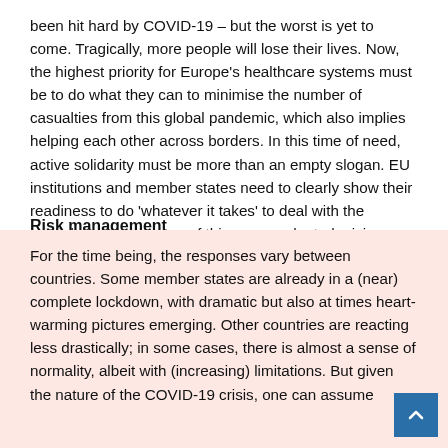been hit hard by COVID-19 – but the worst is yet to come. Tragically, more people will lose their lives. Now, the highest priority for Europe's healthcare systems must be to do what they can to minimise the number of casualties from this global pandemic, which also implies helping each other across borders. In this time of need, active solidarity must be more than an empty slogan. EU institutions and member states need to clearly show their readiness to do 'whatever it takes' to deal with the multiple consequences of this unprecedented crisis.
Risk management
For the time being, the responses vary between countries. Some member states are already in a (near) complete lockdown, with dramatic but also at times heart-warming pictures emerging. Other countries are reacting less drastically; in some cases, there is almost a sense of normality, albeit with (increasing) limitations. But given the nature of the COVID-19 crisis, one can assume